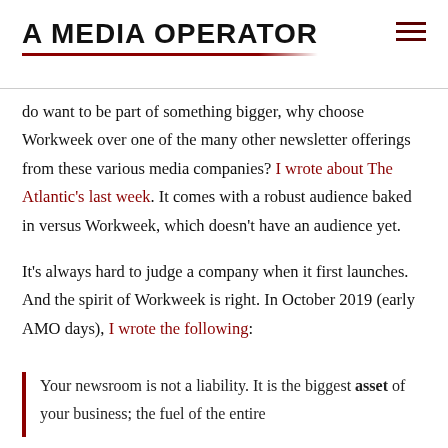A MEDIA OPERATOR
do want to be part of something bigger, why choose Workweek over one of the many other newsletter offerings from these various media companies? I wrote about The Atlantic’s last week. It comes with a robust audience baked in versus Workweek, which doesn’t have an audience yet.
It’s always hard to judge a company when it first launches. And the spirit of Workweek is right. In October 2019 (early AMO days), I wrote the following:
Your newsroom is not a liability. It is the biggest asset of your business; the fuel of the entire